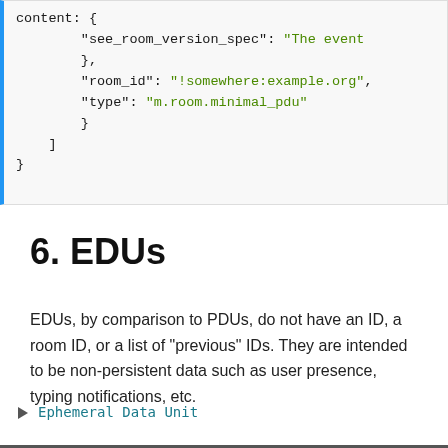content: {
    "see_room_version_spec": "The event
},
"room_id": "!somewhere:example.org",
"type": "m.room.minimal_pdu"
    }
  ]
}
6. EDUs
EDUs, by comparison to PDUs, do not have an ID, a room ID, or a list of "previous" IDs. They are intended to be non-persistent data such as user presence, typing notifications, etc.
Ephemeral Data Unit